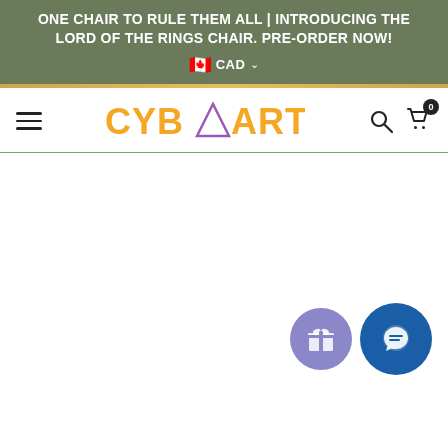ONE CHAIR TO RULE THEM ALL | INTRODUCING THE LORD OF THE RINGS CHAIR. PRE-ORDER NOW!
[Figure (logo): CYBEART logo with orange text and purple triangle symbol, navigation bar with hamburger menu, search icon, and cart icon with 0 badge]
[Figure (screenshot): Main content area (blank white) with floating gift button (purple circle) and chat button (dark blue circle with speech bubble)]